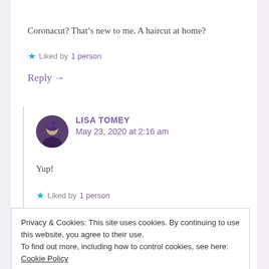Coronacut? That’s new to me. A haircut at home?
★ Liked by 1 person
Reply →
LISA TOMEY
May 23, 2020 at 2:16 am
Yup!
★ Liked by 1 person
Privacy & Cookies: This site uses cookies. By continuing to use this website, you agree to their use.
To find out more, including how to control cookies, see here: Cookie Policy
Close and accept
MESSYMIMI’S MEANDERINGS